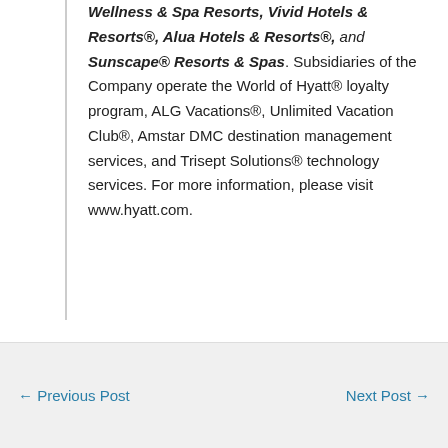Wellness & Spa Resorts, Vivid Hotels & Resorts®, Alua Hotels & Resorts®, and Sunscape® Resorts & Spas. Subsidiaries of the Company operate the World of Hyatt® loyalty program, ALG Vacations®, Unlimited Vacation Club®, Amstar DMC destination management services, and Trisept Solutions® technology services. For more information, please visit www.hyatt.com.
← Previous Post    Next Post →